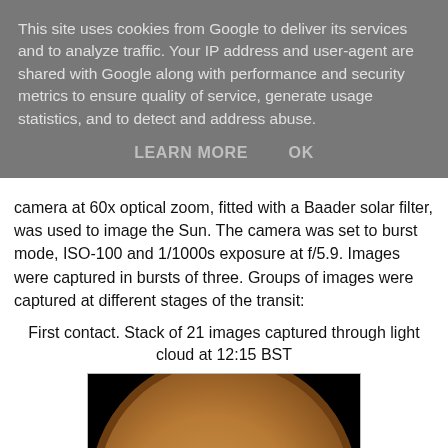This site uses cookies from Google to deliver its services and to analyze traffic. Your IP address and user-agent are shared with Google along with performance and security metrics to ensure quality of service, generate usage statistics, and to detect and address abuse.
LEARN MORE    OK
camera at 60x optical zoom, fitted with a Baader solar filter, was used to image the Sun. The camera was set to burst mode, ISO-100 and 1/1000s exposure at f/5.9. Images were captured in bursts of three. Groups of images were captured at different stages of the transit:
First contact. Stack of 21 images captured through light cloud at 12:15 BST
[Figure (photo): Photograph of the Sun showing a partial view with a dark spot (Mercury transit), captured through a solar filter. The sun's disk appears amber/brown against a black background.]